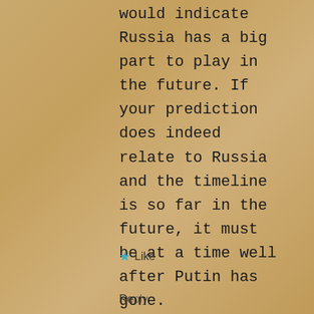would indicate Russia has a big part to play in the future. If your prediction does indeed relate to Russia and the timeline is so far in the future, it must be at a time well after Putin has gone.
★ Like
Reply